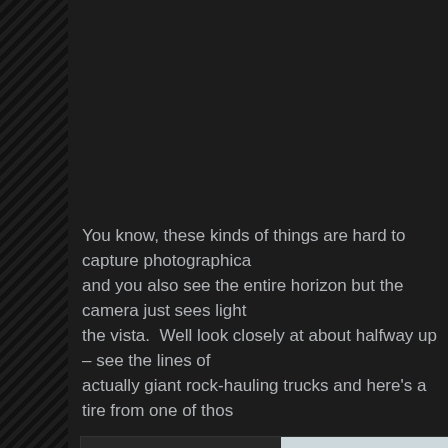[Figure (screenshot): Dark-themed blog webpage with diagonal striped left sidebar, blog body text about photography and rock-hauling trucks, and a partial photo showing a large tire tread against a light sky background]
You know, these kinds of things are hard to capture photographically and you also see the entire horizon but the camera just sees light the vista.  Well look closely at about halfway up – see the lines of actually giant rock-hauling trucks and here's a tire from one of thos
Privacy & Cookies: This site uses cookies. By continuing to use this website, you agree to their use.
To find out more, including how to control cookies, see here: Cookie Policy
Close and accept